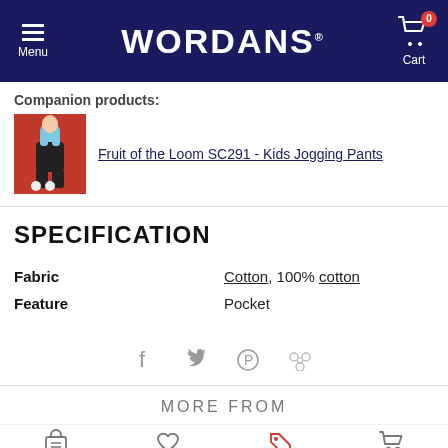WORDANS - Menu / Cart
Companion products:
Fruit of the Loom SC291 - Kids Jogging Pants
SPECIFICATION
| Property | Value |
| --- | --- |
| Fabric | Cotton, 100% cotton |
| Feature | Pocket |
MORE FROM
Catalog  Favorites  Outlet  Cart